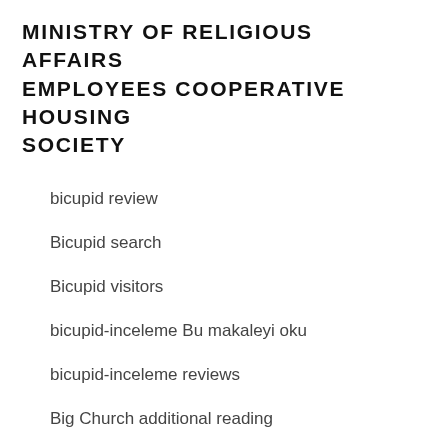MINISTRY OF RELIGIOUS AFFAIRS EMPLOYEES COOPERATIVE HOUSING SOCIETY
bicupid review
Bicupid search
Bicupid visitors
bicupid-inceleme Bu makaleyi oku
bicupid-inceleme reviews
Big Church additional reading
Big Church Related Site
biggercity discuter
biggercity it reviews
Biggercity lesbi hook up